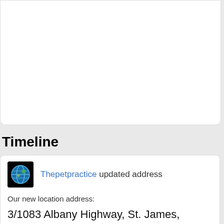Timeline
[Figure (logo): Thepetpractice logo — circular globe icon on black background]
Thepetpractice updated address
Our new location address:
3/1083 Albany Highway, St. James, Western Australia, 6102, An Astráil